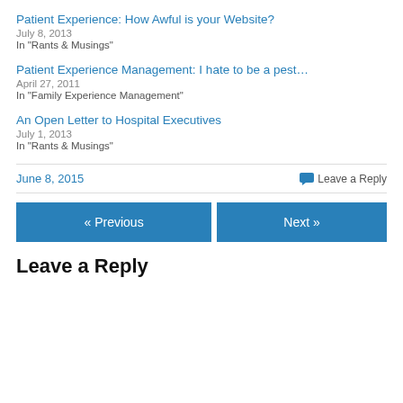Patient Experience: How Awful is your Website?
July 8, 2013
In "Rants & Musings"
Patient Experience Management: I hate to be a pest…
April 27, 2011
In "Family Experience Management"
An Open Letter to Hospital Executives
July 1, 2013
In "Rants & Musings"
June 8, 2015
Leave a Reply
« Previous
Next »
Leave a Reply